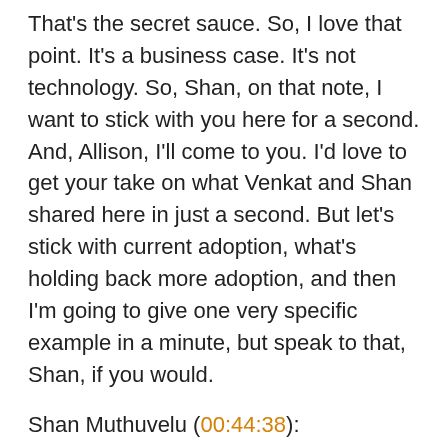That's the secret sauce. So, I love that point. It's a business case. It's not technology. So, Shan, on that note, I want to stick with you here for a second. And, Allison, I'll come to you. I'd love to get your take on what Venkat and Shan shared here in just a second. But let's stick with current adoption, what's holding back more adoption, and then I'm going to give one very specific example in a minute, but speak to that, Shan, if you would.
Shan Muthuvelu (00:44:38):
Oh, definitely. So, Venkat is from